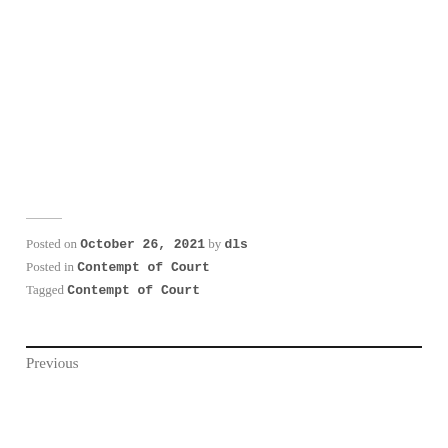Posted on October 26, 2021 by dls
Posted in Contempt of Court
Tagged Contempt of Court
Previous